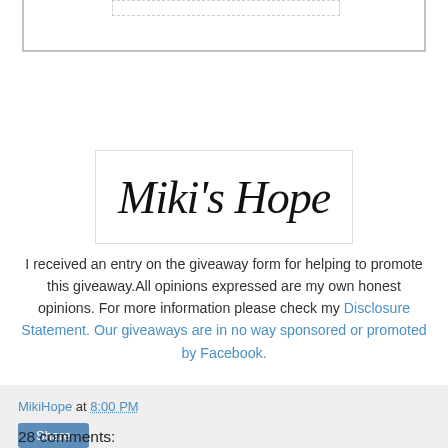[Figure (logo): Miki's Hope cursive logo in black italic script on white background with light border]
I received an entry on the giveaway form for helping to promote this giveaway.All opinions expressed are my own honest opinions. For more information please check my Disclosure Statement. Our giveaways are in no way sponsored or promoted by Facebook.
MikiHope at 8:00 PM
Share
28 comments: